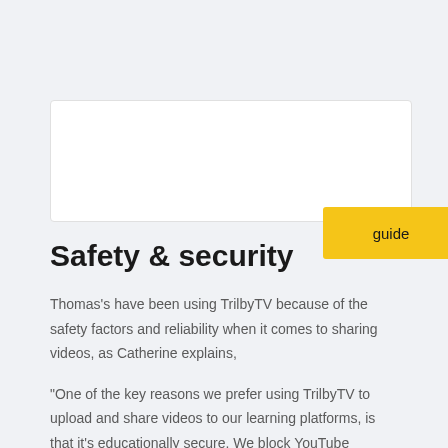[Figure (other): Partial UI card with a yellow button labeled 'guide']
Safety & security
Thomas's have been using TrilbyTV because of the safety factors and reliability when it comes to sharing videos, as Catherine explains,
"One of the key reasons we prefer using TrilbyTV to upload and share videos to our learning platforms, is that it's educationally secure. We block YouTube content on our children's 1:1